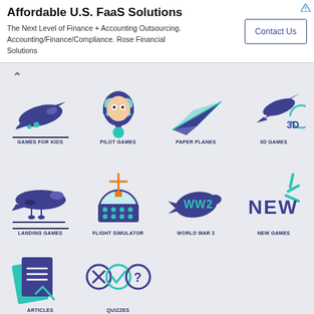[Figure (screenshot): Advertisement banner: Affordable U.S. FaaS Solutions with Contact Us button]
[Figure (infographic): Navigation icon grid showing: Games for Kids (airplane), Pilot Games (scuba mask), Paper Planes (paper plane), 3D Games (3D airplane), Landing Games (landing airplane), Flight Simulator (ship/cockpit simulator), World War 2 (WW2 bomb), New Games (NEW starburst), Articles (document/checklist), Quizzes (quiz icons)]